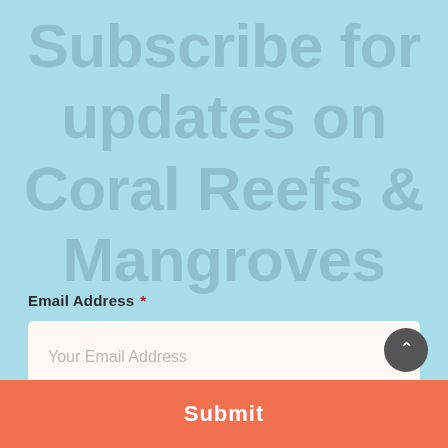Subscribe for updates on Coral Reefs & Mangroves
Email Address *
Your Email Address
Submit